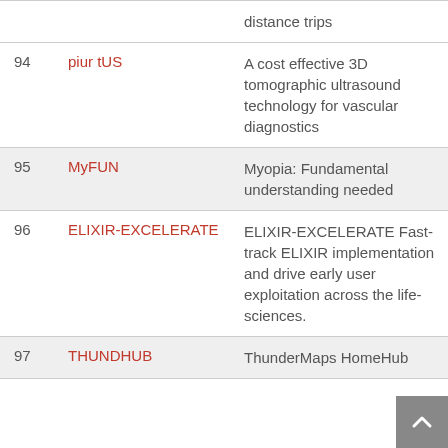| # | Name | Description |
| --- | --- | --- |
|  |  | distance trips |
| 94 | piur tUS | A cost effective 3D tomographic ultrasound technology for vascular diagnostics |
| 95 | MyFUN | Myopia: Fundamental understanding needed |
| 96 | ELIXIR-EXCELERATE | ELIXIR-EXCELERATE Fast-track ELIXIR implementation and drive early user exploitation across the life-sciences. |
| 97 | THUNDHUB | ThunderMaps HomeHub |